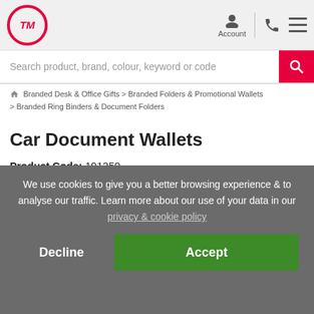TM logo, Account, phone, menu icons
Search product, brand, colour, keyword or code
🏠 > Branded Desk & Office Gifts > Branded Folders & Promotional Wallets > Branded Ring Binders & Document Folders
Car Document Wallets
Product Code: 191250
[Figure (photo): UK flag icon and speed/turnaround badge icon on left side]
[Figure (photo): Car document wallet product photo showing a branded folder with Fastline logo]
We use cookies to give you a better browsing experience & to analyse our traffic. Learn more about our use of your data in our privacy & cookie policy
Decline
Accept